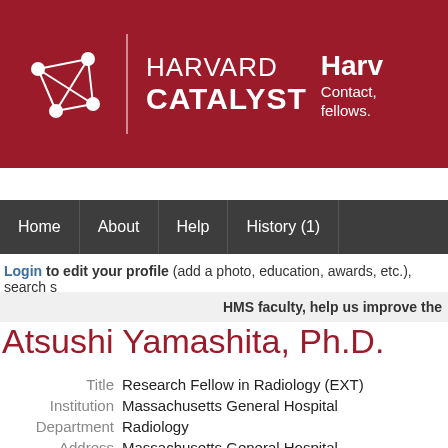[Figure (logo): Harvard Catalyst logo with network graph icon and text 'HARVARD CATALYST' on dark red background, with partial text 'Harv... Contact, fellows.' on the right]
[Figure (screenshot): Navigation bar with items: Home, About, Help, History (1)]
Login to edit your profile (add a photo, education, awards, etc.), search s
HMS faculty, help us improve the
Atsushi Yamashita, Ph.D.
| Title | Research Fellow in Radiology (EXT) |
| Institution | Massachusetts General Hospital |
| Department | Radiology |
| Address | Massachusetts General Hospital
55 Fruit St
Boston MA 02114 |